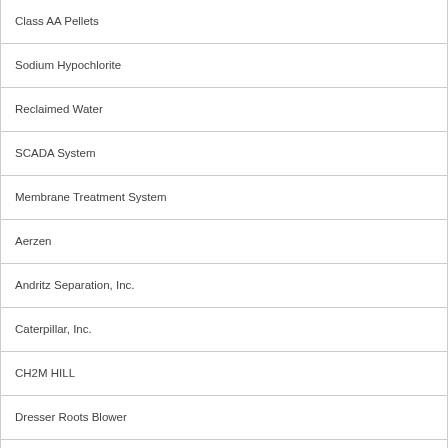| Class AA Pellets |
| Sodium Hypochlorite |
| Reclaimed Water |
| SCADA System |
| Membrane Treatment System |
| Aerzen |
| Andritz Separation, Inc. |
| Caterpillar, Inc. |
| CH2M HILL |
| Dresser Roots Blower |
| Gardner Denver Inc. |
| GE Water & Process Technologies |
| GEA Westfalia Separator, Inc. |
| Flygt - a Xylem Brand |